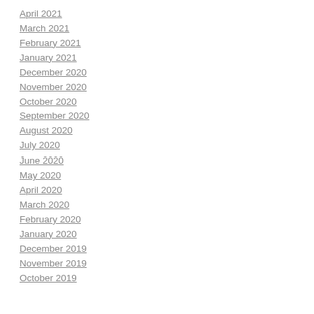April 2021
March 2021
February 2021
January 2021
December 2020
November 2020
October 2020
September 2020
August 2020
July 2020
June 2020
May 2020
April 2020
March 2020
February 2020
January 2020
December 2019
November 2019
October 2019